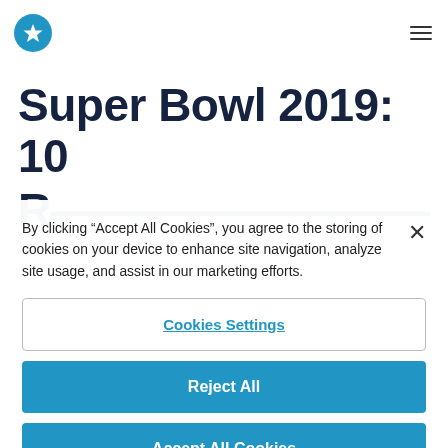[Figure (logo): Blue circular logo with white star icon]
Super Bowl 2019: 10
By clicking “Accept All Cookies”, you agree to the storing of cookies on your device to enhance site navigation, analyze site usage, and assist in our marketing efforts.
Cookies Settings
Reject All
Accept All Cookies